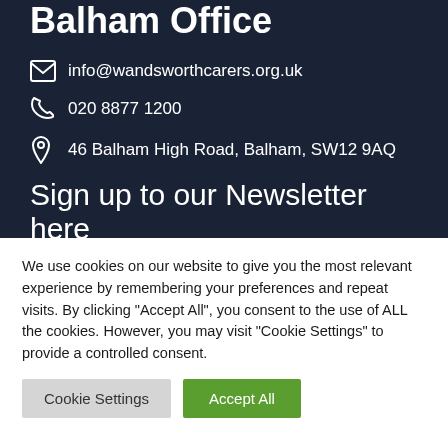Balham Office
info@wandsworthcarers.org.uk
020 8877 1200
46 Balham High Road, Balham, SW12 9AQ
Sign up to our Newsletter here
Subscribe
We use cookies on our website to give you the most relevant experience by remembering your preferences and repeat visits. By clicking "Accept All", you consent to the use of ALL the cookies. However, you may visit "Cookie Settings" to provide a controlled consent.
Cookie Settings
Accept All